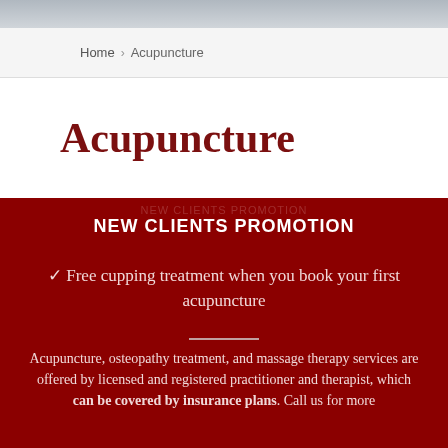[Figure (photo): Photo strip at top of page, partially visible grayscale image]
Home > Acupuncture
Acupuncture
NEW CLIENTS PROMOTION
✓ Free cupping treatment when you book your first acupuncture
Acupuncture, osteopathy treatment, and massage therapy services are offered by licensed and registered practitioner and therapist, which can be covered by insurance plans. Call us for more